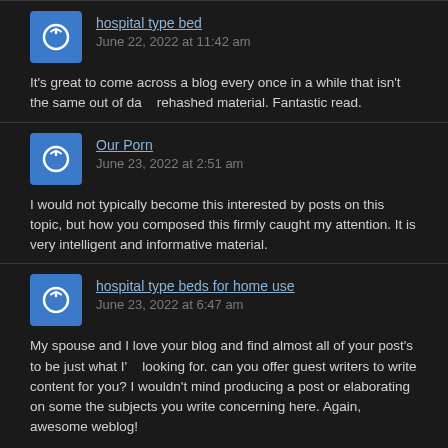hospital type bed
June 22, 2022 at 11:42 am
It's great to come across a blog every once in a while that isn't the same out of date rehashed material. Fantastic read.
Our Porn
June 23, 2022 at 2:51 am
I would not typically become this interested by posts on this topic, but how you composed this firmly caught my attention. It is very intelligent and informative material.
hospital type beds for home use
June 23, 2022 at 6:47 am
My spouse and I love your blog and find almost all of your post's to be just what I'm looking for. can you offer guest writers to write content for you? I wouldn't mind producing a post or elaborating on some the subjects you write concerning here. Again, awesome weblog!